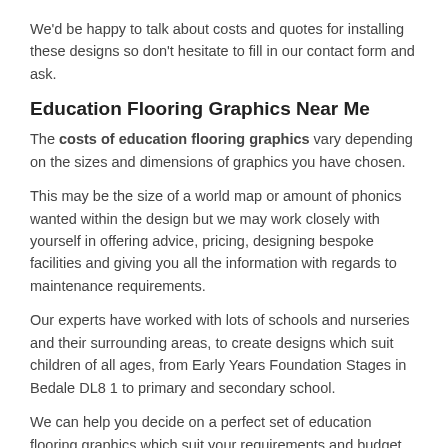We'd be happy to talk about costs and quotes for installing these designs so don't hesitate to fill in our contact form and ask.
Education Flooring Graphics Near Me
The costs of education flooring graphics vary depending on the sizes and dimensions of graphics you have chosen.
This may be the size of a world map or amount of phonics wanted within the design but we may work closely with yourself in offering advice, pricing, designing bespoke facilities and giving you all the information with regards to maintenance requirements.
Our experts have worked with lots of schools and nurseries and their surrounding areas, to create designs which suit children of all ages, from Early Years Foundation Stages in Bedale DL8 1 to primary and secondary school.
We can help you decide on a perfect set of education flooring graphics which suit your requirements and budget.
How to Install Educational Markings